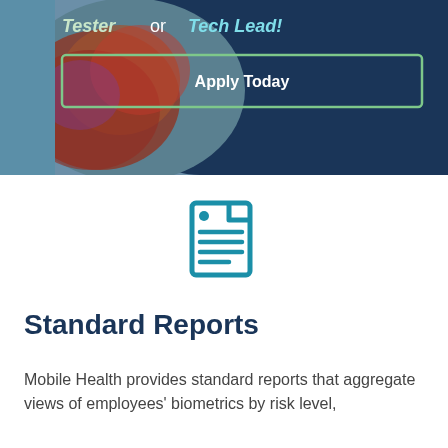[Figure (screenshot): Banner with text 'Tester or Tech Lead!' and 'Apply Today' button on a dark teal/blue background with chameleon image overlay]
[Figure (illustration): Teal document/report icon with lines representing text content]
Standard Reports
Mobile Health provides standard reports that aggregate views of employees' biometrics by risk level,